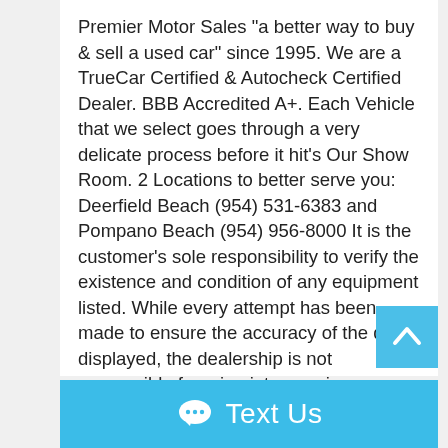Premier Motor Sales "a better way to buy & sell a used car" since 1995. We are a TrueCar Certified & Autocheck Certified Dealer. BBB Accredited A+. Each Vehicle that we select goes through a very delicate process before it hit's Our Show Room. 2 Locations to better serve you: Deerfield Beach (954) 531-6383 and Pompano Beach (954) 956-8000 It is the customer's sole responsibility to verify the existence and condition of any equipment listed. While every attempt has been made to ensure the accuracy of the data displayed, the dealership is not responsible for misprints on prices or equipment. We welcome Pre-Purchase Inspections.
Text Us